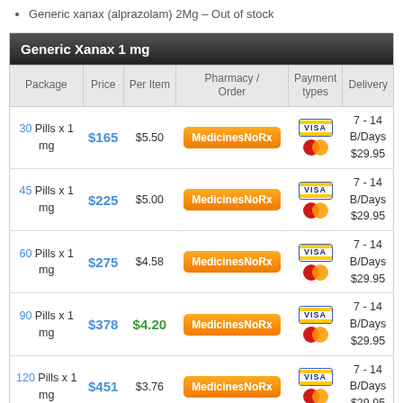Generic xanax (alprazolam) 2Mg – Out of stock
| Package | Price | Per Item | Pharmacy / Order | Payment types | Delivery |
| --- | --- | --- | --- | --- | --- |
| 30 Pills x 1 mg | $165 | $5.50 | MedicinesNoRx | VISA / MC | 7 - 14 B/Days $29.95 |
| 45 Pills x 1 mg | $225 | $5.00 | MedicinesNoRx | VISA / MC | 7 - 14 B/Days $29.95 |
| 60 Pills x 1 mg | $275 | $4.58 | MedicinesNoRx | VISA / MC | 7 - 14 B/Days $29.95 |
| 90 Pills x 1 mg | $378 | $4.20 | MedicinesNoRx | VISA / MC | 7 - 14 B/Days $29.95 |
| 120 Pills x 1 mg | $451 | $3.76 | MedicinesNoRx | VISA / MC | 7 - 14 B/Days $29.95 |
| 160 Pills x 1 mg | $534 | $3.34 | MedicinesNoRx | VISA / MC | 7 - 14 B/Days $29.95 |